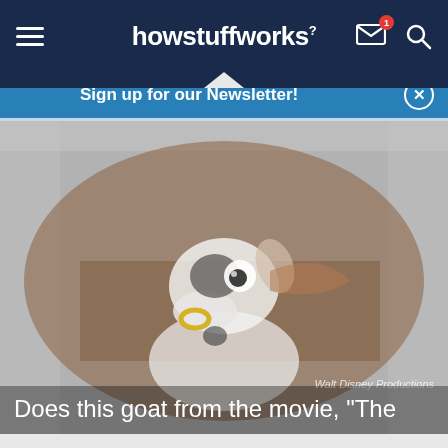howstuffworks
Sign up for our Newsletter!
[Figure (screenshot): A blurred/faded animated cartoon goat from a Disney movie, with a gold ring near its nose, looking upward. The image appears to be a video still. Watermark reads 'Walt Disney Productions'.]
Does this goat from the movie, "The